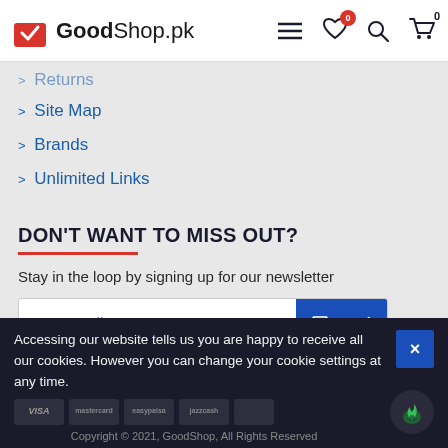GoodShop.pk
> Returns
> Site Map
> Brands
> Unlimited Links
DON'T WANT TO MISS OUT?
Stay in the loop by signing up for our newsletter
I have read and agree to the Privacy Policy
Accessing our website tells us you are happy to receive all our cookies. However you can change your cookie settings at any time.
Copyright © 2021, GoodShop, All Rights Reserved